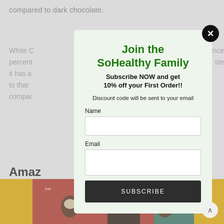compared to dark chocolate.
White C... percent... ence it has a... ste to that... compar...
Cocoa P... cocoa b... 0% cacao w... gh and bat...
Amaz
[Figure (screenshot): Modal popup overlay for SoHealthy Family newsletter subscription with name and email fields and a subscribe button]
Join the SoHealthy Family
Subscribe NOW and get 10% off your First Order!!
Discount code will be sent to your email
Name
Email
SUBSCRIBE
[Figure (photo): Row of chocolate product images at the bottom of the page with colorful packaging]